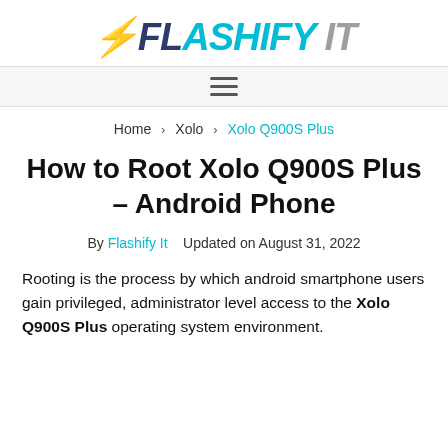FLASHIFY IT
Home > Xolo > Xolo Q900S Plus
How to Root Xolo Q900S Plus – Android Phone
By Flashify It   Updated on August 31, 2022
Rooting is the process by which android smartphone users gain privileged, administrator level access to the Xolo Q900S Plus operating system environment.